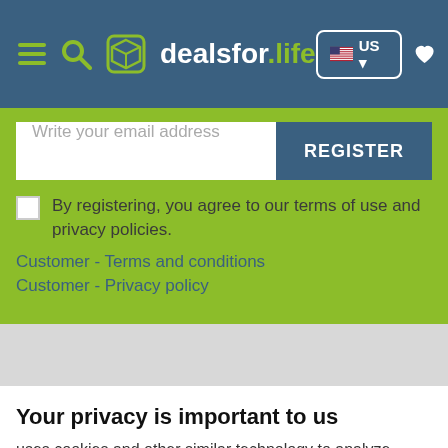[Figure (screenshot): Website navigation bar with hamburger menu, search icon, dealsfor.life logo, US country selector, heart and user icons on blue background]
Write your email address
REGISTER
By registering, you agree to our terms of use and privacy policies.
Customer - Terms and conditions
Customer - Privacy policy
Your privacy is important to us
uses cookies and other similar technology to analyze traffic and customize content and ads, as well as offering social networking resources. Get more information
Acept